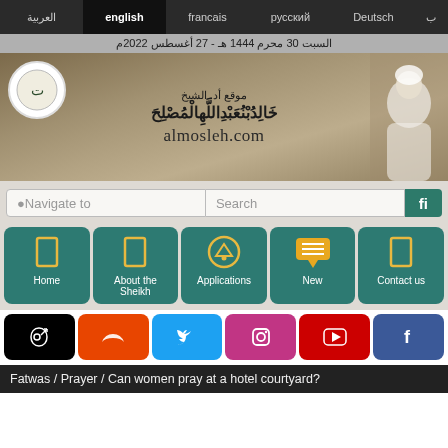العربية | english | francais | русский | Deutsch
السبت 30 محرم 1444 هـ - 27 أغسطس 2022م
[Figure (screenshot): Website header banner for almosleh.com showing logo, Arabic title, sheikh photo, and URL]
Navigate to | Search
Home | About the Sheikh | Applications | New | Contact us
TikTok | SoundCloud | Twitter | Instagram | YouTube | Facebook
Fatwas / Prayer / Can women pray at a hotel courtyard?